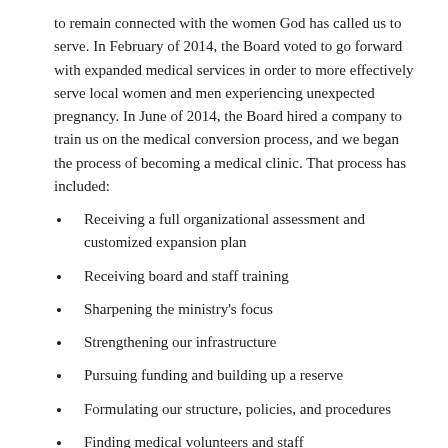to remain connected with the women God has called us to serve. In February of 2014, the Board voted to go forward with expanded medical services in order to more effectively serve local women and men experiencing unexpected pregnancy. In June of 2014, the Board hired a company to train us on the medical conversion process, and we began the process of becoming a medical clinic. That process has included:
Receiving a full organizational assessment and customized expansion plan
Receiving board and staff training
Sharpening the ministry's focus
Strengthening our infrastructure
Pursuing funding and building up a reserve
Formulating our structure, policies, and procedures
Finding medical volunteers and staff
Dr. Teresa Durbin has joined us as our volunteer medical director!
We still need: